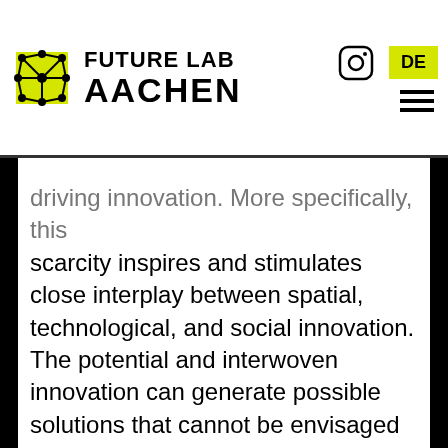Future Lab Aachen
driving innovation. More specifically, this scarcity inspires and stimulates close interplay between spatial, technological, and social innovation. The potential and interwoven innovation can generate possible solutions that cannot be envisaged as one-time responses. Rather, these solutions are better conceived as a set of interventions intended to carefully anticipate change that is specific and systemic. Setting forth in developing these solutions is both an opportunity and